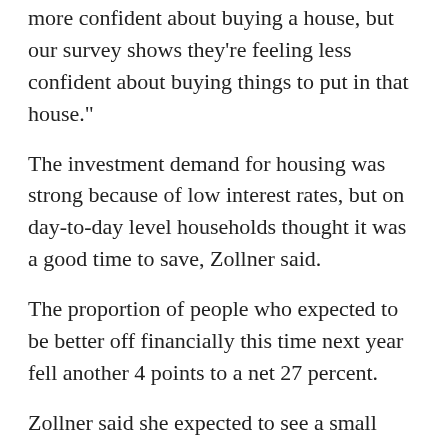more confident about buying a house, but our survey shows they're feeling less confident about buying things to put in that house."
The investment demand for housing was strong because of low interest rates, but on day-to-day level households thought it was a good time to save, Zollner said.
The proportion of people who expected to be better off financially this time next year fell another 4 points to a net 27 percent.
Zollner said she expected to see a small rebound in consumer activity when the current restrictions ease, but it would be nothing like the bounce out of the previous lockdown.
[Figure (other): Social sharing icons row: Twitter (blue), Facebook (dark blue), Reddit (red-orange), another orange circle icon, and LinkedIn (light blue)]